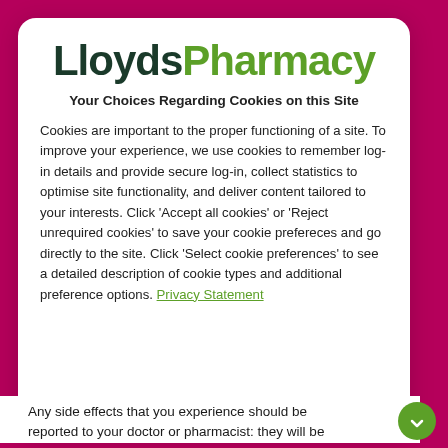[Figure (logo): LloydsPharmacy logo — 'Lloyds' in dark green bold, 'Pharmacy' in light green bold]
Your Choices Regarding Cookies on this Site
Cookies are important to the proper functioning of a site. To improve your experience, we use cookies to remember log-in details and provide secure log-in, collect statistics to optimise site functionality, and deliver content tailored to your interests. Click 'Accept all cookies' or 'Reject unrequired cookies' to save your cookie prefereces and go directly to the site. Click 'Select cookie preferences' to see a detailed description of cookie types and additional preference options. Privacy Statement
Any side effects that you experience should be reported to your doctor or pharmacist: they will be